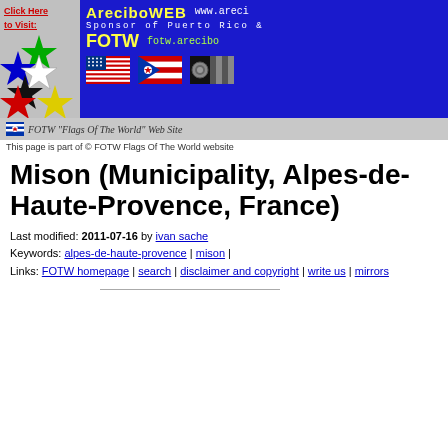[Figure (screenshot): AreciboWEB banner - sponsor of Puerto Rico FOTW with colorful stars, flags of USA, Puerto Rico, and another flag on blue background]
FOTW 'Flags Of The World' Web Site
This page is part of © FOTW Flags Of The World website
Mison (Municipality, Alpes-de-Haute-Provence, France)
Last modified: 2011-07-16 by ivan sache
Keywords: alpes-de-haute-provence | mison |
Links: FOTW homepage | search | disclaimer and copyright | write us | mirrors